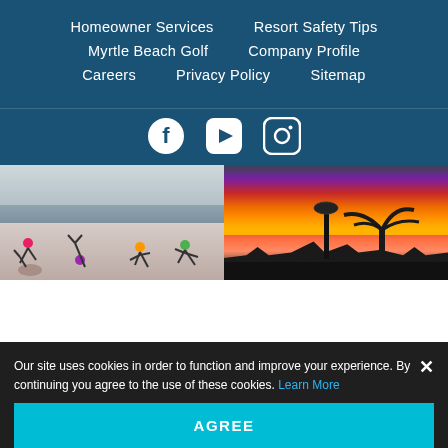Homeowner Services
Resort Safety Tips
Myrtle Beach Golf
Company Profile
Careers
Privacy Policy
Sitemap
[Figure (screenshot): Social media icons: Facebook, YouTube, Instagram on dark blue background]
[Figure (photo): Left: people doing cartwheels/handstands on a beach. Right: palm tree and street lamp silhouetted against a dramatic orange and purple sunset sky.]
Our site uses cookies in order to function and improve your experience. By continuing you agree to the use of these cookies. Learn More
AGREE